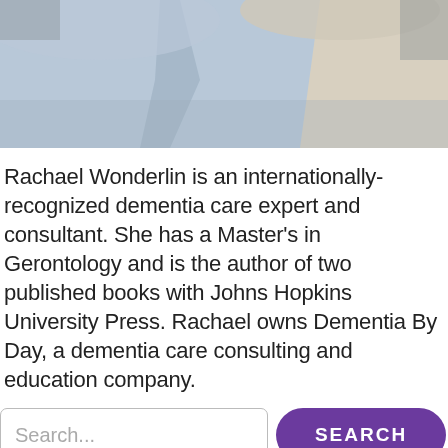[Figure (photo): Cropped photo of a person wearing a light blue jacket and cream/white sweater, photographed from the torso up against a gray/neutral background.]
Rachael Wonderlin is an internationally-recognized dementia care expert and consultant. She has a Master's in Gerontology and is the author of two published books with Johns Hopkins University Press. Rachael owns Dementia By Day, a dementia care consulting and education company.
[Figure (screenshot): A search bar with placeholder text 'Search...' and a purple rounded button labeled 'SEARCH'.]
[Figure (photo): Partial view of a book cover with purple floral design. Large stylized number '10' visible on the left side, with the text 'Things I Would Want' on the right portion.]